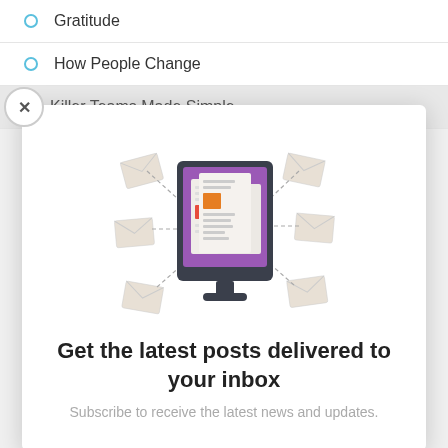Gratitude
How People Change
Killer Teams Made Simple
[Figure (illustration): Illustration of a computer monitor with a purple screen showing newspaper/document pages with colored blocks, surrounded by flying envelope icons connected by dashed lines, representing email newsletter subscription]
Get the latest posts delivered to your inbox
Subscribe to receive the latest news and updates.